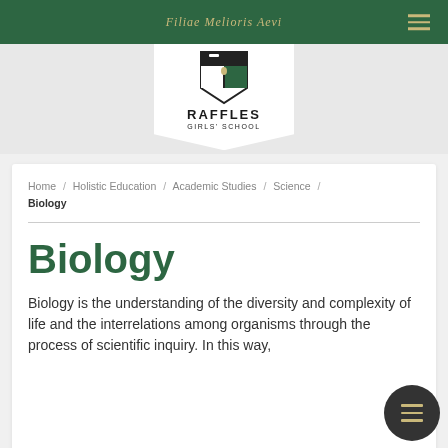Filiae Melioris Aevi
[Figure (logo): Raffles Girls' School shield logo with text RAFFLES GIRLS' SCHOOL]
Home / Holistic Education / Academic Studies / Science / Biology
Biology
Biology is the understanding of the diversity and complexity of life and the interrelations among organisms through the process of scientific inquiry. In this way,